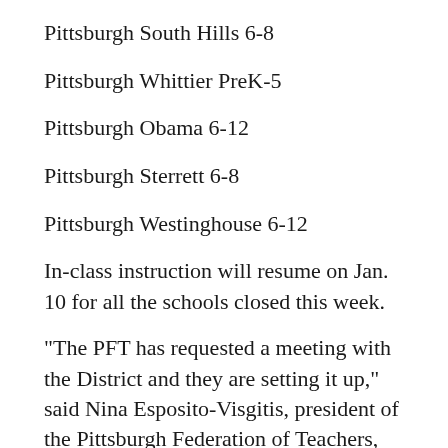Pittsburgh South Hills 6-8
Pittsburgh Whittier PreK-5
Pittsburgh Obama 6-12
Pittsburgh Sterrett 6-8
Pittsburgh Westinghouse 6-12
In-class instruction will resume on Jan. 10 for all the schools closed this week.
"The PFT has requested a meeting with the District and they are setting it up," said Nina Esposito-Visgitis, president of the Pittsburgh Federation of Teachers, on Monday. "We have not met with them yet, so I'm not saying I know their protocols yet, but